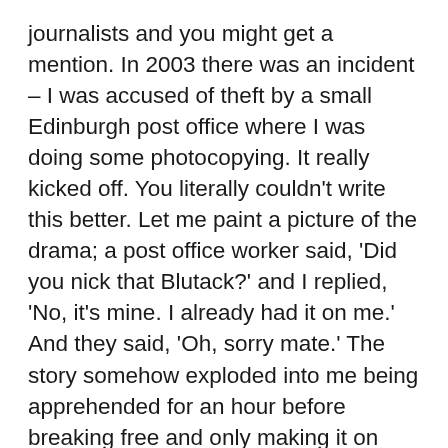journalists and you might get a mention. In 2003 there was an incident – I was accused of theft by a small Edinburgh post office where I was doing some photocopying. It really kicked off. You literally couldn't write this better. Let me paint a picture of the drama; a post office worker said, 'Did you nick that Blutack?' and I replied, 'No, it's mine. I already had it on me.' And they said, 'Oh, sorry mate.' The story somehow exploded into me being apprehended for an hour before breaking free and only making it on stage with seconds to go. I know, shock PR tactics. I was helped by a journalist friend that year, so I did have an advantage.